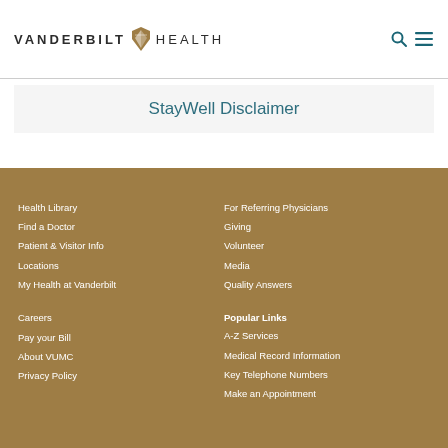VANDERBILT HEALTH
StayWell Disclaimer
Health Library
Find a Doctor
Patient & Visitor Info
Locations
My Health at Vanderbilt
Careers
Pay your Bill
About VUMC
Privacy Policy
For Referring Physicians
Giving
Volunteer
Media
Quality Answers
Popular Links
A-Z Services
Medical Record Information
Key Telephone Numbers
Make an Appointment